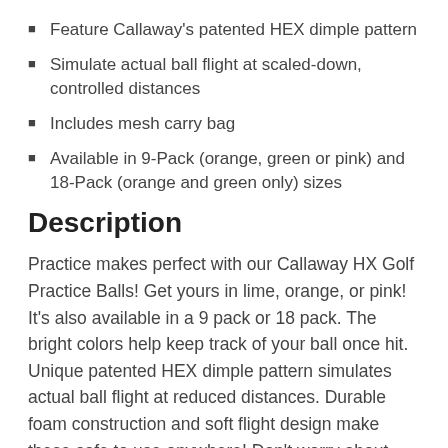Feature Callaway's patented HEX dimple pattern
Simulate actual ball flight at scaled-down, controlled distances
Includes mesh carry bag
Available in 9-Pack (orange, green or pink) and 18-Pack (orange and green only) sizes
Description
Practice makes perfect with our Callaway HX Golf Practice Balls! Get yours in lime, orange, or pink! It's also available in a 9 pack or 18 pack. The bright colors help keep track of your ball once hit. Unique patented HEX dimple pattern simulates actual ball flight at reduced distances. Durable foam construction and soft flight design make these safe to use anywhere! Don't worry about damaging your clubs or ruining any property. It includes a strong and durable